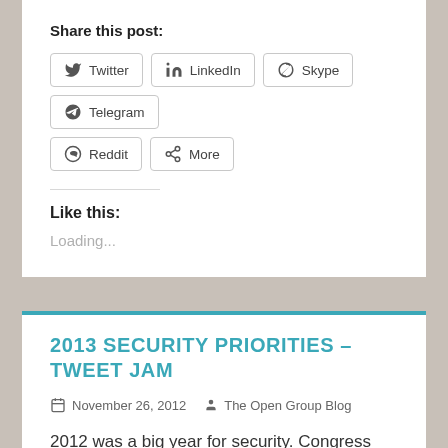Share this post:
Twitter  LinkedIn  Skype  Telegram  Reddit  More
Like this:
Loading...
2013 SECURITY PRIORITIES – TWEET JAM
November 26, 2012   The Open Group Blog
2012 was a big year for security. Congress debated cybersecurity legislation ; social networking site LinkedIn was faulted for one of